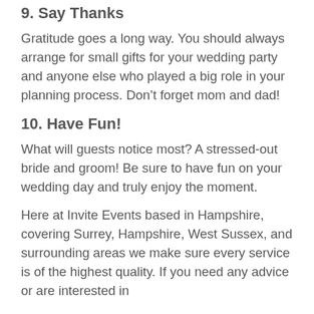9. Say Thanks
Gratitude goes a long way. You should always arrange for small gifts for your wedding party and anyone else who played a big role in your planning process. Don’t forget mom and dad!
10. Have Fun!
What will guests notice most? A stressed-out bride and groom! Be sure to have fun on your wedding day and truly enjoy the moment.
Here at Invite Events based in Hampshire, covering Surrey, Hampshire, West Sussex, and surrounding areas we make sure every service is of the highest quality. If you need any advice or are interested in